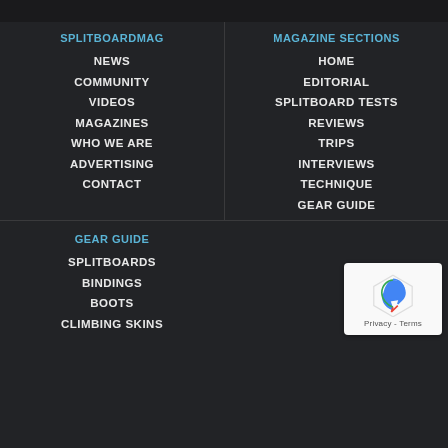SPLITBOARDMAG
NEWS
COMMUNITY
VIDEOS
MAGAZINES
WHO WE ARE
ADVERTISING
CONTACT
MAGAZINE SECTIONS
HOME
EDITORIAL
SPLITBOARD TESTS
REVIEWS
TRIPS
INTERVIEWS
TECHNIQUE
GEAR GUIDE
GEAR GUIDE
SPLITBOARDS
BINDINGS
BOOTS
CLIMBING SKINS